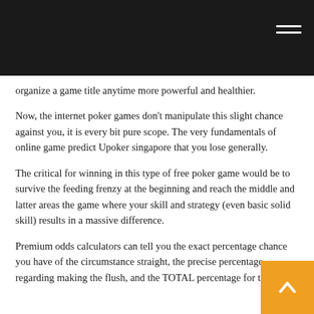organize a game title anytime more powerful and healthier.
Now, the internet poker games don't manipulate this slight chance against you, it is every bit pure scope. The very fundamentals of online game predict Upoker singapore that you lose generally.
The critical for winning in this type of free poker game would be to survive the feeding frenzy at the beginning and reach the middle and latter areas the game where your skill and strategy (even basic solid skill) results in a massive difference.
Premium odds calculators can tell you the exact percentage chance you have of the circumstance straight, the precise percentage regarding making the flush, and the TOTAL percentage for the two.